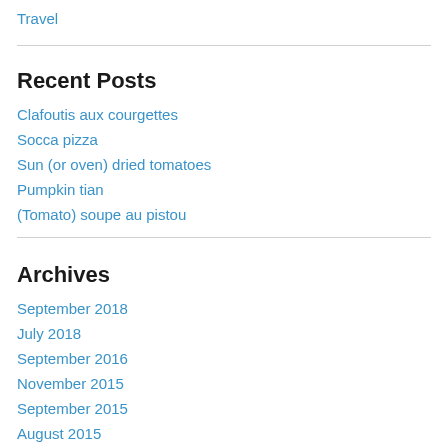Travel
Recent Posts
Clafoutis aux courgettes
Socca pizza
Sun (or oven) dried tomatoes
Pumpkin tian
(Tomato) soupe au pistou
Archives
September 2018
July 2018
September 2016
November 2015
September 2015
August 2015